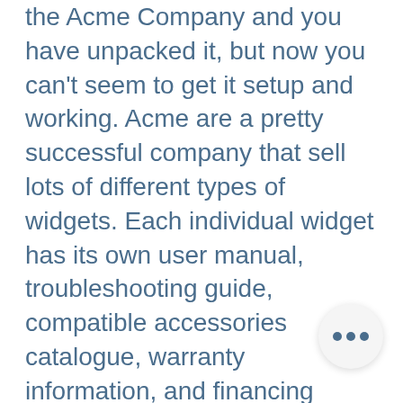the Acme Company and you have unpacked it, but now you can't seem to get it setup and working. Acme are a pretty successful company that sell lots of different types of widgets. Each individual widget has its own user manual, troubleshooting guide, compatible accessories catalogue, warranty information, and financing model, as well as a how to setup video. While all of the information about the widgets is useful at different points, what you want is to find the information about this specific widget that will help me with the specific setup problem you are experiencing right now. The cont is a customer having a setup iss and the relevance is this specific